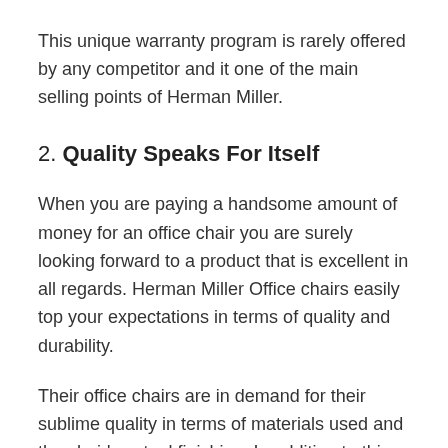This unique warranty program is rarely offered by any competitor and it one of the main selling points of Herman Miller.
2. Quality Speaks For Itself
When you are paying a handsome amount of money for an office chair you are surely looking forward to a product that is excellent in all regards. Herman Miller Office chairs easily top your expectations in terms of quality and durability.
Their office chairs are in demand for their sublime quality in terms of materials used and the chair's actual finishing. In addition to this, the quality control department at Herman Miller performs their due